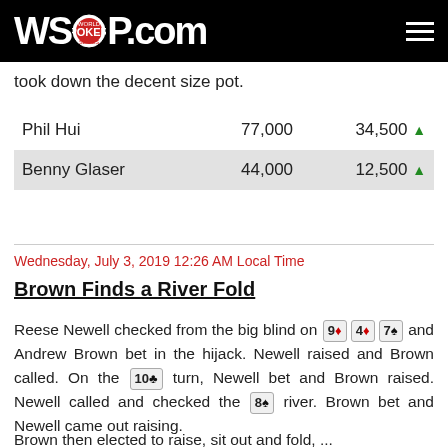WSOP.COM
took down the decent size pot.
|  |  |  |
| --- | --- | --- |
| Phil Hui | 77,000 | 34,500 ▲ |
| Benny Glaser | 44,000 | 12,500 ▲ |
Wednesday, July 3, 2019 12:26 AM Local Time
Brown Finds a River Fold
Reese Newell checked from the big blind on 9♦ 4♦ 7♠ and Andrew Brown bet in the hijack. Newell raised and Brown called. On the 10♣ turn, Newell bet and Brown raised. Newell called and checked the 8♠ river. Brown bet and Newell came out raising.
Brown then elected to raise, sit out and fold, ...